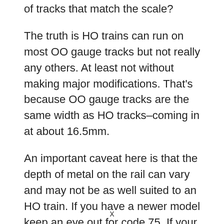of tracks that match the scale?
The truth is HO trains can run on most OO gauge tracks but not really any others. At least not without making major modifications. That's because OO gauge tracks are the same width as HO tracks–coming in at about 16.5mm.
An important caveat here is that the depth of metal on the rail can vary and may not be as well suited to an HO train. If you have a newer model keep an eye out for code 75. If your model has a few more years or decades on it, however, you should keep an eye out
x